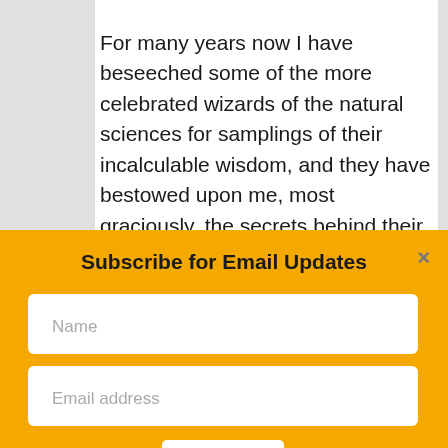For many years now I have beseeched some of the more celebrated wizards of the natural sciences for samplings of their incalculable wisdom, and they have bestowed upon me, most graciously, the secrets behind their biological sorcery—that is, the key to deciphering the riddles of leanness and
Subscribe for Email Updates
Name
Email address
SUBMIT